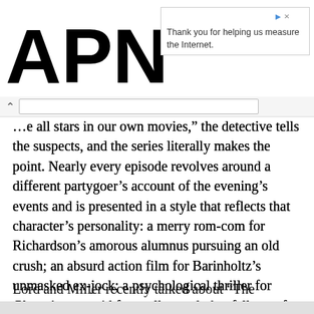[Figure (logo): APNIC logo in large bold black text]
Thank you for helping us measure the Internet.
e all stars in our own movies,” the detective tells the suspects, and the series literally makes the point. Nearly every episode revolves around a different partygoer’s account of the evening’s events and is presented in a style that reflects that character’s personality: a merry rom-com for Richardson’s amorous alumnus pursuing an old crush; an absurd action film for Barinholtz’s unmasked ex-jock; a psychological thriller for Glazer’s paranoid farewell speech that fell out of favor.
Lord and Miller recently talked about “The Afterparty” in a joint video interview from their respective Los Angeles homes, where they’ve been preparing “Spider-Man: Across the Universe (Part One)” for an October release, as well as